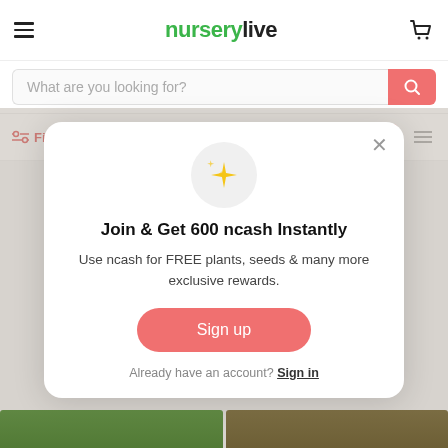nurserylive
What are you looking for?
Filters  Sort by
[Figure (screenshot): Modal popup with sparkle icon, Join & Get 600 ncash Instantly heading, ncash description, Sign up button, and Sign in link]
Join & Get 600 ncash Instantly
Use ncash for FREE plants, seeds & many more exclusive rewards.
Sign up
Already have an account? Sign in